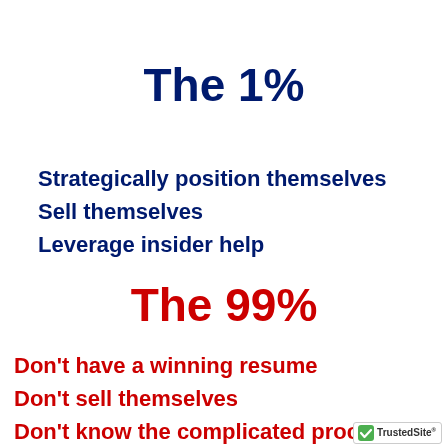The 1%
Strategically position themselves
Sell themselves
Leverage insider help
The 99%
Don't have a winning resume
Don't sell themselves
Don't know the complicated process
[Figure (logo): TrustedSite logo with green checkmark badge]